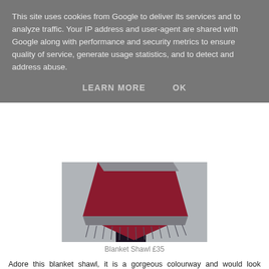This site uses cookies from Google to deliver its services and to analyze traffic. Your IP address and user-agent are shared with Google along with performance and security metrics to ensure quality of service, generate usage statistics, and to detect and address abuse.
LEARN MORE   OK
[Figure (photo): A person wearing a dark red/maroon blanket shawl with grey border and fringe, posed against a grey wall]
Blanket Shawl £35
Adore this blanket shawl, it is a gorgeous colourway and would look stunning over a black, camel, pink, grey or navy coat. Or throw over a leather biker jacket for extra warmth, at £35 this is a fabulous buy.
Check out Hush' nightwear and brand new homewear too, their pyjamas are gorgeous as are their new range of candles, smell divine!